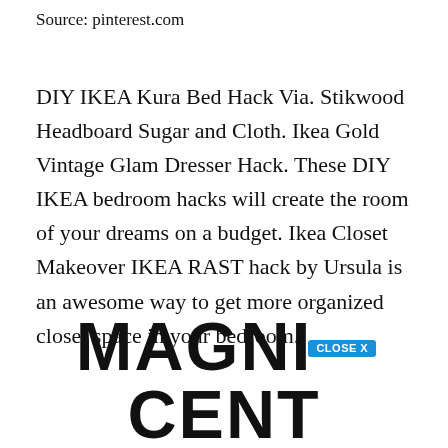Source: pinterest.com
DIY IKEA Kura Bed Hack Via. Stikwood Headboard Sugar and Cloth. Ikea Gold Vintage Glam Dresser Hack. These DIY IKEA bedroom hacks will create the room of your dreams on a budget. Ikea Closet Makeover IKEA RAST hack by Ursula is an awesome way to get more organized closet space in your bedroom.
MAGNIFICENT